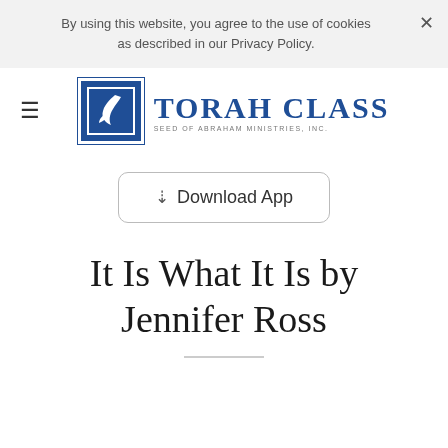By using this website, you agree to the use of cookies as described in our Privacy Policy.
[Figure (logo): Torah Class logo with blue square containing white bird silhouette and text 'Torah Class - Seed of Abraham Ministries, Inc.']
Download App
It Is What It Is by Jennifer Ross